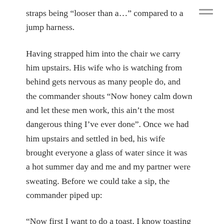straps being “looser than a…” compared to a jump harness.
Having strapped him into the chair we carry him upstairs. His wife who is watching from behind gets nervous as many people do, and the commander shouts “Now honey calm down and let these men work, this ain’t the most dangerous thing I’ve ever done”. Once we had him upstairs and settled in bed, his wife brought everyone a glass of water since it was a hot summer day and me and my partner were sweating. Before we could take a sip, the commander piped up:
“Now first I want to do a toast. I know toasting with water is bad luck, but to hell with it, never believed in luck anyway. Here’s to this beautiful life, the little bit I’ve got left, and what you guys have got in front of you.”